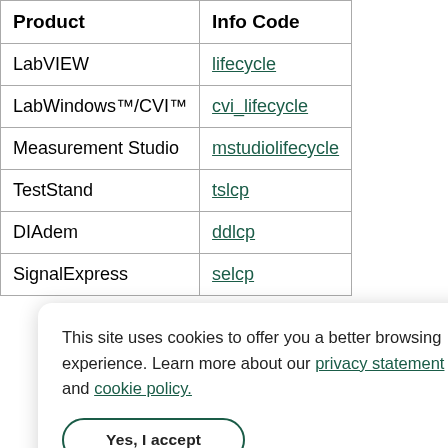| Product | Info Code |
| --- | --- |
| LabVIEW | lifecycle |
| LabWindows™/CVI™ | cvi_lifecycle |
| Measurement Studio | mstudiolifecycle |
| TestStand | tslcp |
| DIAdem | ddlcp |
| SignalExpress | selcp |
V
↑ B
Le
Co
This site uses cookies to offer you a better browsing experience. Learn more about our privacy statement and cookie policy.
Yes, I accept